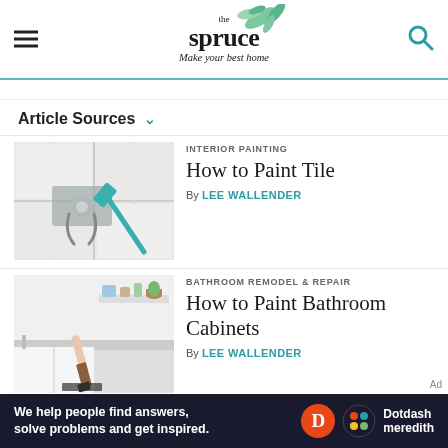the spruce — Make your best home
Article Sources ∨
[Figure (photo): Close-up of white bathroom tiles with a metal hook and a roller paint brush leaning against it, painted gray]
INTERIOR PAINTING
How to Paint Tile
By LEE WALLENDER
[Figure (photo): Person's hand painting bathroom cabinet with a paint brush; bathroom with shelves, plants, and containers in background]
BATHROOM REMODEL & REPAIR
How to Paint Bathroom Cabinets
By LEE WALLENDER
We help people find answers, solve problems and get inspired. — Dotdash meredith